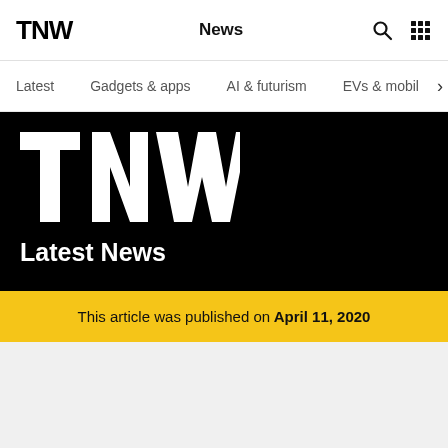TNW  News
Latest
Gadgets & apps
AI & futurism
EVs & mobil
[Figure (logo): TNW large white logo on black background]
Latest News
This article was published on April 11, 2020